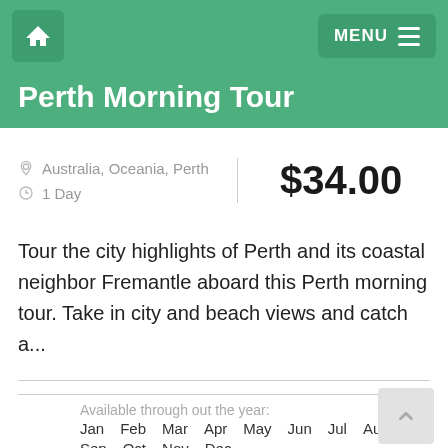Perth Morning Tour
Australia, Oceania, Perth | 1 Day | $34.00
Tour the city highlights of Perth and its coastal neighbor Fremantle aboard this Perth morning tour. Take in city and beach views and catch a...
Available through out the year:
Jan Feb Mar Apr May Jun Jul Aug Sep Oct Nov Dec